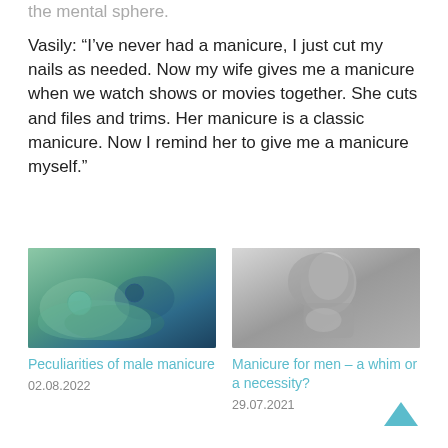the mental sphere.

Vasily: “I’ve never had a manicure, I just cut my nails as needed. Now my wife gives me a manicure when we watch shows or movies together. She cuts and files and trims. Her manicure is a classic manicure. Now I remind her to give me a manicure myself.”
[Figure (photo): Photo of hands with colorful nail art, including teal, blue, and green nail polish with decorative patterns and rings.]
Peculiarities of male manicure
02.08.2022
[Figure (photo): Black and white photo of a man touching his face, examining his nails.]
Manicure for men – a whim or a necessity?
29.07.2021